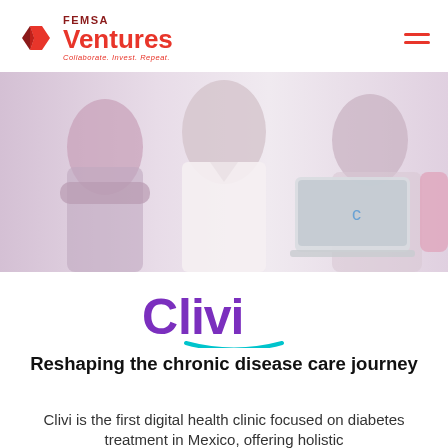[Figure (logo): FEMSA Ventures logo with diamond/chevron icon in dark red and red, text 'FEMSA' above 'Ventures' in red, tagline 'Collaborate. Invest. Repeat.' in italic red]
[Figure (photo): Healthcare professionals in white lab coats, one holding a laptop with a 'C' logo on the back, in a medical/clinical setting]
[Figure (logo): Clivi logo in purple and teal, stylized text 'Clivi' with a teal smile-like underline arc]
Reshaping the chronic disease care journey
Clivi is the first digital health clinic focused on diabetes treatment in Mexico, offering holistic